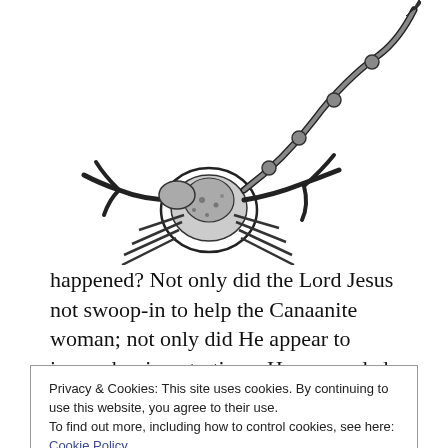[Figure (illustration): Black and white ink illustration of a scorpion, cropped at top, showing legs, claws, and tail/stinger, centered on page upper half.]
happened? Not only did the Lord Jesus not swoop-in to help the Canaanite woman; not only did He appear to ignore her impetrations; He proceeded to insult her. He said, No—with an unequivocal brush-off.
If it were you or me, surely we would have taken
Privacy & Cookies: This site uses cookies. By continuing to use this website, you agree to their use.
To find out more, including how to control cookies, see here: Cookie Policy
Close and accept
Perhaps it really does seem familiar. We came